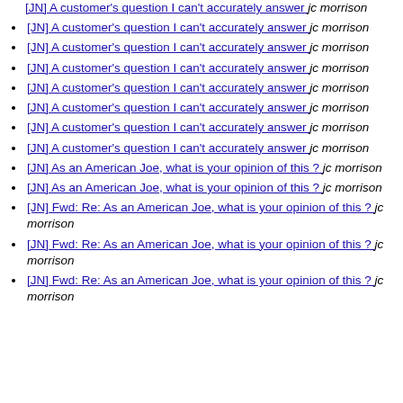[JN] A customer's question I can't accurately answer  jc morrison
[JN] A customer's question I can't accurately answer  jc morrison
[JN] A customer's question I can't accurately answer  jc morrison
[JN] A customer's question I can't accurately answer  jc morrison
[JN] A customer's question I can't accurately answer  jc morrison
[JN] A customer's question I can't accurately answer  jc morrison
[JN] A customer's question I can't accurately answer  jc morrison
[JN] A customer's question I can't accurately answer  jc morrison
[JN] As an American Joe, what is your opinion of this ?  jc morrison
[JN] As an American Joe, what is your opinion of this ?  jc morrison
[JN] Fwd: Re: As an American Joe, what is your opinion of this ?  jc morrison
[JN] Fwd: Re: As an American Joe, what is your opinion of this ?  jc morrison
[JN] Fwd: Re: As an American Joe, what is your opinion of this ?  jc morrison